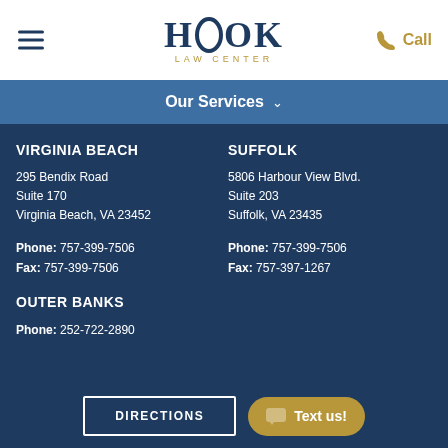HOOK LAW CENTER
Our Services
VIRGINIA BEACH
295 Bendix Road
Suite 170
Virginia Beach, VA 23452
Phone: 757-399-7506
Fax: 757-399-7506
SUFFOLK
5806 Harbour View Blvd.
Suite 203
Suffolk, VA 23435
Phone: 757-399-7506
Fax: 757-397-1267
OUTER BANKS
Phone: 252-722-2890
DIRECTIONS
Text us!